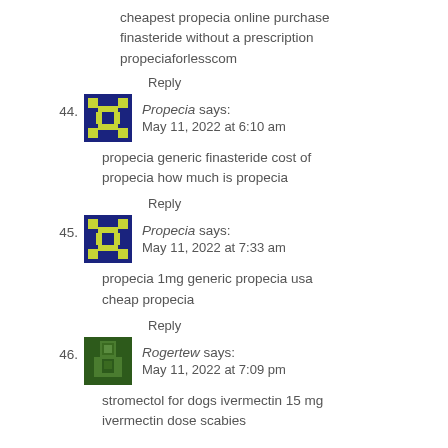cheapest propecia online purchase finasteride without a prescription propeciaforlesscom
Reply
Propecia says: May 11, 2022 at 6:10 am
propecia generic finasteride cost of propecia how much is propecia
Reply
Propecia says: May 11, 2022 at 7:33 am
propecia 1mg generic propecia usa cheap propecia
Reply
Rogertew says: May 11, 2022 at 7:09 pm
stromectol for dogs ivermectin 15 mg ivermectin dose scabies